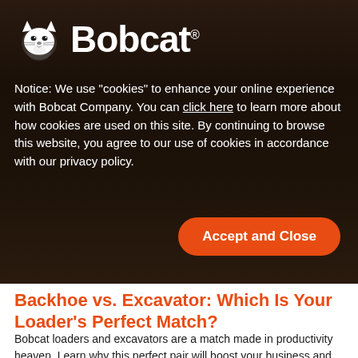[Figure (logo): Bobcat logo with bobcat icon and bold white wordmark 'Bobcat.' on dark background]
Notice: We use “cookies” to enhance your online experience with Bobcat Company. You can click here to learn more about how cookies are used on this site. By continuing to browse this website, you agree to our use of cookies in accordance with our privacy policy.
Accept and Close
Backhoe vs. Excavator: Which Is Your Loader’s Perfect Match?
Bobcat loaders and excavators are a match made in productivity heaven. Learn why this perfect pair will boost your business and which combo fits your needs.